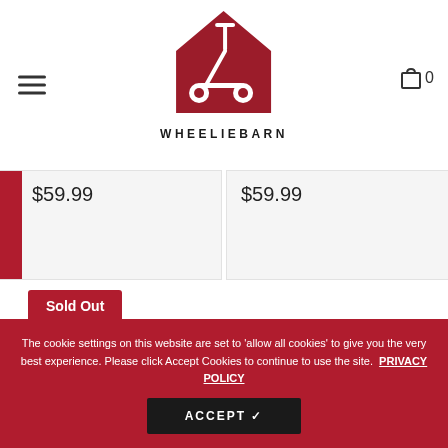[Figure (logo): WheeliBarn logo: dark red house shape with a scooter silhouette inside, text WHEELIEBARN below]
$59.99
$59.99
Sold Out
The cookie settings on this website are set to 'allow all cookies' to give you the very best experience. Please click Accept Cookies to continue to use the site.  PRIVACY POLICY
ACCEPT ✓